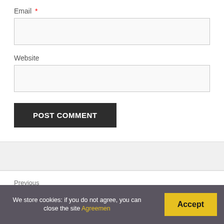Email *
Website
POST COMMENT
Previous
FAQ: Geforce Experience Something Went Wrong?
Next
We store cookies: if you do not agree, you can close the site Agreemen